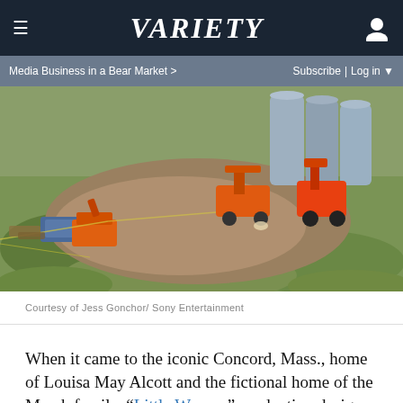VARIETY | Media Business in a Bear Market > | Subscribe | Log in
[Figure (photo): Aerial drone photo of a construction site with orange heavy equipment and machinery near large cylindrical silos, surrounded by green fields and disturbed earth.]
Courtesy of Jess Gonchor/ Sony Entertainment
When it came to the iconic Concord, Mass., home of Louisa May Alcott and the fictional home of the March family, “Little Women” production designer Jess Gonchor set out to create a neighborhood environment that would connect the Laurences’